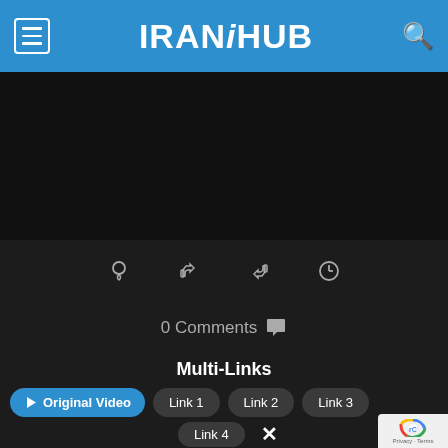IRANiHUB
[Figure (screenshot): Dark video player area, black background]
[Figure (infographic): Icon toolbar with lightbulb, thumbs up, thumbs down, and clock icons on dark background]
0 Comments 💬
Multi-Links
▶ Original Video   Link 1   Link 2   Link 3
Link 4   ✕